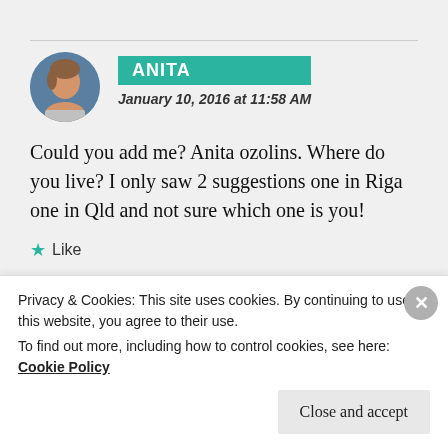ANITA
January 10, 2016 at 11:58 AM
Could you add me? Anita ozolins. Where do you live? I only saw 2 suggestions one in Riga one in Qld and not sure which one is you!
Like
VIOLETTA
Privacy & Cookies: This site uses cookies. By continuing to use this website, you agree to their use.
To find out more, including how to control cookies, see here: Cookie Policy
Close and accept